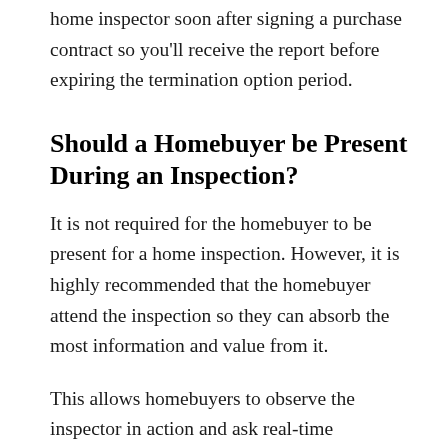home inspector soon after signing a purchase contract so you'll receive the report before expiring the termination option period.
Should a Homebuyer be Present During an Inspection?
It is not required for the homebuyer to be present for a home inspection. However, it is highly recommended that the homebuyer attend the inspection so they can absorb the most information and value from it.
This allows homebuyers to observe the inspector in action and ask real-time questions throughout the process. Homebuyers, in general, find that talking with their inspector gives them a better understanding of the